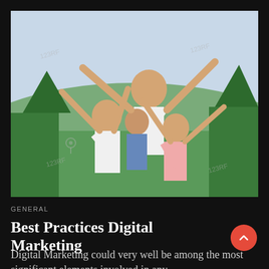[Figure (photo): Family of four with arms raised joyfully outdoors, mountains and trees in background. Watermarked stock photo.]
GENERAL
Best Practices Digital Marketing
Digital Marketing could very well be among the most significant elements involved in any